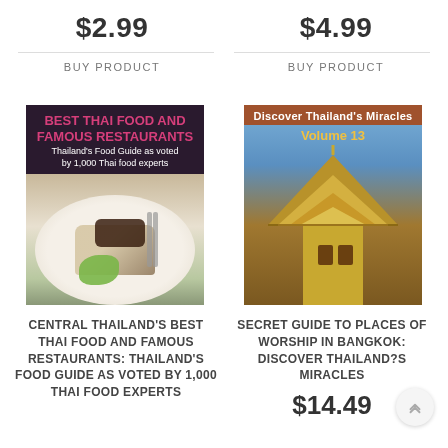$2.99
$4.99
BUY PRODUCT
BUY PRODUCT
[Figure (photo): Book cover: BEST THAI FOOD AND FAMOUS RESTAURANTS - Thailand's Food Guide as voted by 1,000 Thai food experts. Dark purple background with an image of Thai food on a plate.]
[Figure (photo): Book cover: Discover Thailand's Miracles Volume 13. Shows a Thai temple/pagoda against a blue sky background with decorative rooftop elements.]
CENTRAL THAILAND'S BEST THAI FOOD AND FAMOUS RESTAURANTS: THAILAND'S FOOD GUIDE AS VOTED BY 1,000 THAI FOOD EXPERTS
SECRET GUIDE TO PLACES OF WORSHIP IN BANGKOK: DISCOVER THAILAND?S MIRACLES
$14.49